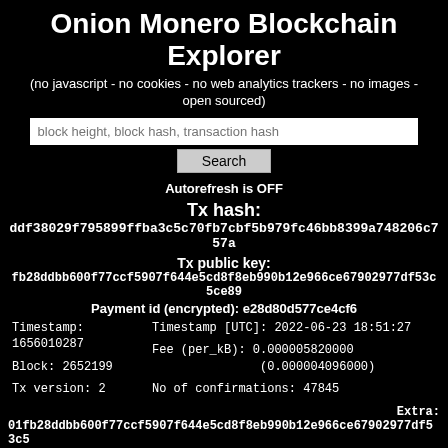Onion Monero Blockchain Explorer
(no javascript - no cookies - no web analytics trackers - no images - open sourced)
Autorefresh is OFF
Tx hash:
ddf38029f795899ffba3c5c70fb7cbf5b979fc46bb8399a748206c757a
Tx public key:
fb28ddbb600f77ccf5907f644e5cd8f8eb990b12e966ce67902977df53c5ce89
Payment id (encrypted): e28d80d577ce4cf6
| Timestamp:
1656010287 | Timestamp [UTC]: 2022-06-23 18:51:27 |
| Block: 2652199 | Fee (per_kB): 0.000005820000
(0.000004096000) |
| Tx version: 2 | No of confirmations: 47845 |
Extra:
01fb28ddbb600f77ccf5907f644e5cd8f8eb990b12e966ce67902977df53c5